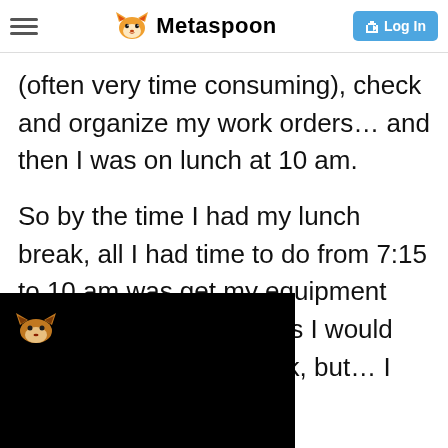Metaspoon
(often very time consuming), check and organize my work orders… and then I was on lunch at 10 am.
So by the time I had my lunch break, all I had time to do from 7:15 to 10 am was get my equipment ready for the day. Things I would have normally [done before my fir]st break, but… I was [forced to attend ]that meeting and [had to go and ]start a project
[Figure (screenshot): Black popup overlay with fox icon logo in bottom-left of screen, partially obscuring text]